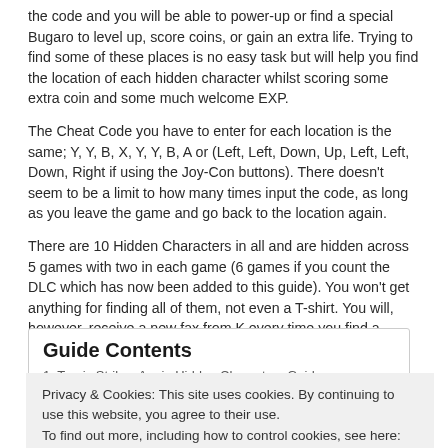the code and you will be able to power-up or find a special Bugaro to level up, score coins, or gain an extra life. Trying to find some of these places is no easy task but will help you find the location of each hidden character whilst scoring some extra coin and some much welcome EXP.
The Cheat Code you have to enter for each location is the same; Y, Y, B, X, Y, Y, B, A or (Left, Left, Down, Up, Left, Left, Down, Right if using the Joy-Con buttons). There doesn't seem to be a limit to how many times input the code, as long as you leave the game and go back to the location again.
There are 10 Hidden Characters in all and are hidden across 5 games with two in each game (6 games if you count the DLC which has now been added to this guide). You won't get anything for finding all of them, not even a T-shirt. You will, however, receive a new fax from K every time you find a hidden character.
Without further ado, let's get on with our Travis Strikes Again Hidden Characters Guide!
Guide Contents
1. Travis Strikes Again Hidden Characters Guide
Privacy & Cookies: This site uses cookies. By continuing to use this website, you agree to their use.
To find out more, including how to control cookies, see here: Cookie Policy